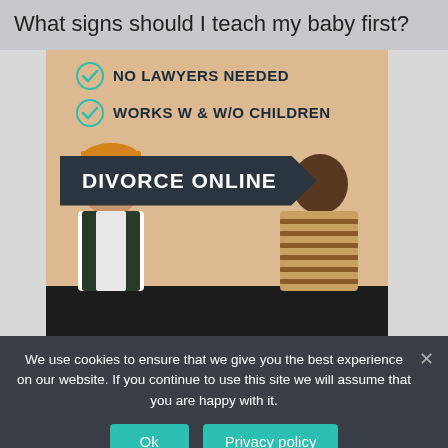What signs should I teach my baby first?
[Figure (infographic): Advertisement for Divorce Online service. Shows two checklist items: 'NO LAWYERS NEEDED' and 'WORKS W & W/O CHILDREN' with teal checkmarks, a dark arrow-shaped banner reading 'DIVORCE ONLINE', and a photo of a man in an orange beanie and a woman in a striped shirt sitting on a dark sofa looking at each other against a beige background.]
We use cookies to ensure that we give you the best experience on our website. If you continue to use this site we will assume that you are happy with it.